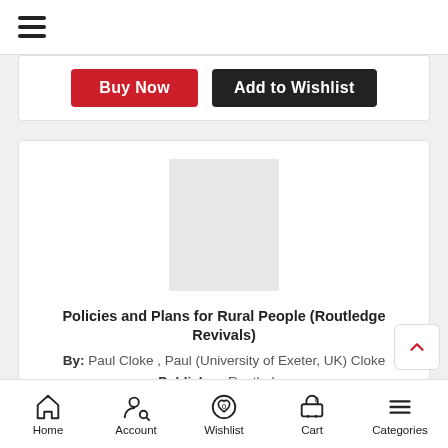[Figure (screenshot): Hamburger menu icon (three horizontal lines)]
[Figure (screenshot): Buy Now and Add to Wishlist buttons]
[Figure (photo): Book cover placeholder (light gray square)]
Policies and Plans for Rural People (Routledge Revivals)
By: Paul Cloke , Paul (University of Exeter, UK) Cloke
Publisher: Routledge
Rs.8,101
International Edition
Home  Account  Wishlist  Cart  Categories